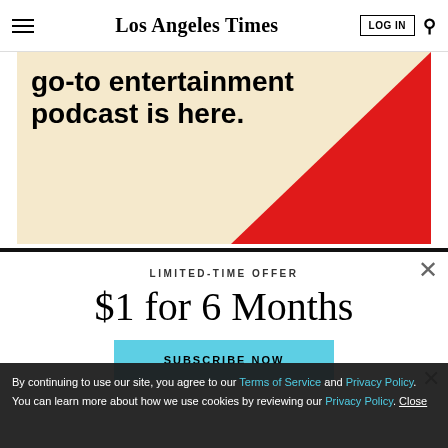Los Angeles Times
[Figure (illustration): Los Angeles Times podcast advertisement banner with beige/cream background, bold black text reading 'go-to entertainment podcast is here.' and a red diagonal stripe in the bottom-right corner]
LIMITED-TIME OFFER
$1 for 6 Months
SUBSCRIBE NOW
By continuing to use our site, you agree to our Terms of Service and Privacy Policy. You can learn more about how we use cookies by reviewing our Privacy Policy. Close